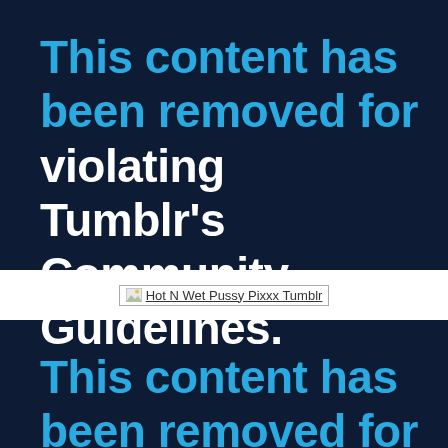This content has been removed for violating Tumblr's Community Guidelines.
[Figure (screenshot): Broken image placeholder with alt text: Hot N Wet Pussy Pixxx Tumblr]
This content has been removed for violating Tumblr's Community Guidelines.